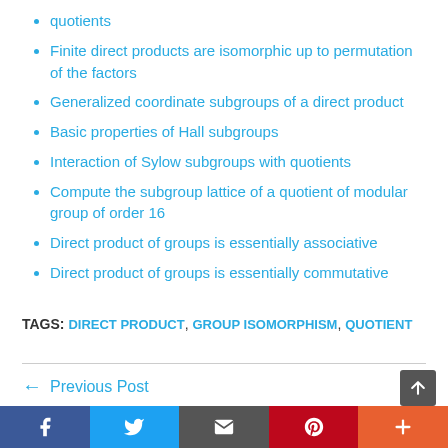quotients
Finite direct products are isomorphic up to permutation of the factors
Generalized coordinate subgroups of a direct product
Basic properties of Hall subgroups
Interaction of Sylow subgroups with quotients
Compute the subgroup lattice of a quotient of modular group of order 16
Direct product of groups is essentially associative
Direct product of groups is essentially commutative
TAGS: DIRECT PRODUCT, GROUP ISOMORPHISM, QUOTIENT
Previous Post